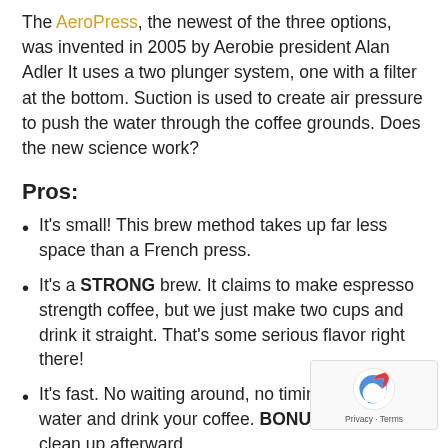The AeroPress, the newest of the three options, was invented in 2005 by Aerobie president Alan Adler It uses a two plunger system, one with a filter at the bottom. Suction is used to create air pressure to push the water through the coffee grounds. Does the new science work?
Pros:
It's small! This brew method takes up far less space than a French press.
It's a STRONG brew. It claims to make espresso strength coffee, but we just make two cups and drink it straight. That's some serious flavor right there!
It's fast. No waiting around, no timing. Pour your water and drink your coffee. BONUS: It's easy to clean up afterward.
Cons:
It's all made of plastic, so if you're weird about hot water and